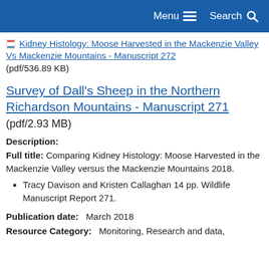Menu  Search
Kidney Histology: Moose Harvested in the Mackenzie Valley Vs Mackenzie Mountains - Manuscript 272 (pdf/536.89 KB)
Survey of Dall's Sheep in the Northern Richardson Mountains - Manuscript 271
(pdf/2.93 MB)
Description:
Full title: Comparing Kidney Histology: Moose Harvested in the Mackenzie Valley versus the Mackenzie Mountains 2018.
Tracy Davison and Kristen Callaghan 14 pp. Wildlife Manuscript Report 271.
Publication date:   March 2018
Resource Category:   Monitoring, Research and data,